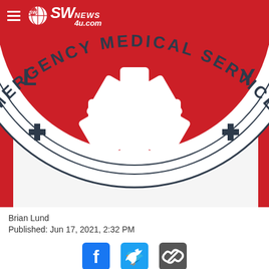SW NEWS 4U.com
[Figure (logo): Emergency Medical Services circular badge/seal with red circle, white Star of Life (asterisk symbol), and text 'EMERGENCY MEDICAL SERVICES' around the outer ring with cross symbols, partially cropped]
Brian Lund
Published: Jun 17, 2021, 2:32 PM
[Figure (other): Social share icons: Facebook, Twitter, and link/chain icons]